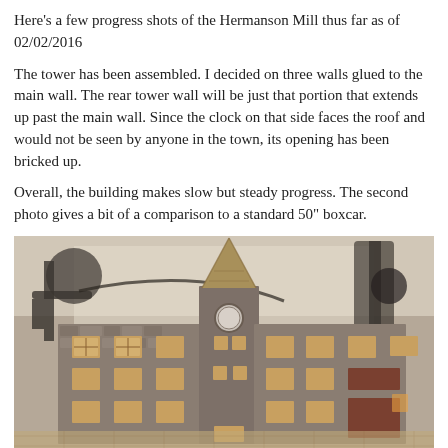Here's a few progress shots of the Hermanson Mill thus far as of 02/02/2016
The tower has been assembled. I decided on three walls glued to the main wall. The rear tower wall will be just that portion that extends up past the main wall. Since the clock on that side faces the roof and would not be seen by anyone in the town, its opening has been bricked up.
Overall, the building makes slow but steady progress. The second photo gives a bit of a comparison to a standard 50" boxcar.
[Figure (photo): A detailed scale model of the Hermanson Mill building with a clock tower, stone exterior walls with multiple windows, and a pyramidal roof on the tower. Workshop tools and equipment visible in the background.]